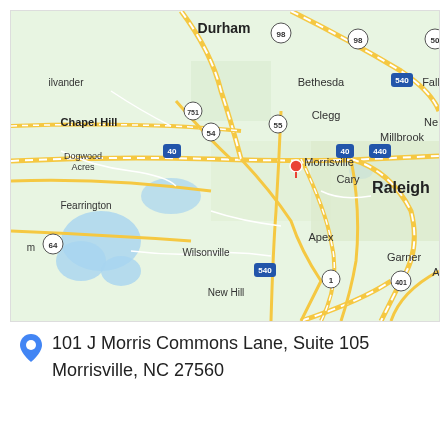[Figure (map): Google Maps view of the Raleigh-Durham area in North Carolina, showing Durham, Chapel Hill, Morrisville, Cary, Raleigh, Apex, and surrounding areas with major highways including I-40, I-440, I-540, NC-54, NC-55, NC-751, NC-64, US-1, US-401, US-98, US-50.]
101 J Morris Commons Lane, Suite 105
Morrisville, NC 27560